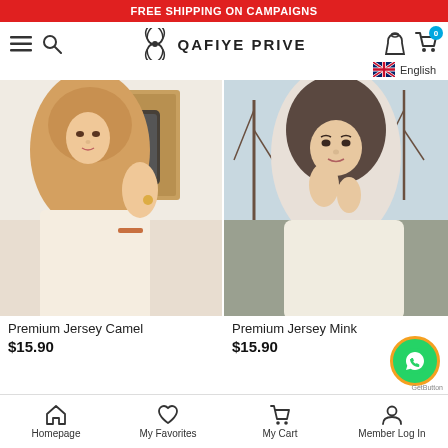FREE SHIPPING ON CAMPAIGNS
[Figure (logo): Qafiye Prive logo with clover/flower emblem and navigation icons (hamburger menu, search, user account, shopping cart with badge 0)]
[Figure (photo): Woman wearing a camel/beige hijab, taking a mirror selfie with a smartphone, wearing a white blazer and jewelry]
[Figure (photo): Woman wearing a dark mink/brown hijab, posing outdoors with bare trees in background, wearing a cream knit sweater]
Premium Jersey Camel
$15.90
Premium Jersey Mink
$15.90
Homepage | My Favorites | My Cart | Member Log In